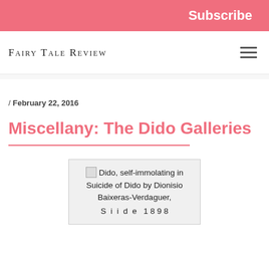Subscribe
FAIRY TALE REVIEW
/ February 22, 2016
Miscellany: The Dido Galleries
[Figure (photo): Broken image placeholder with caption: Dido, self-immolating in Suicide of Dido by Dionisio Baixeras-Verdaguer, (partially cut off)]